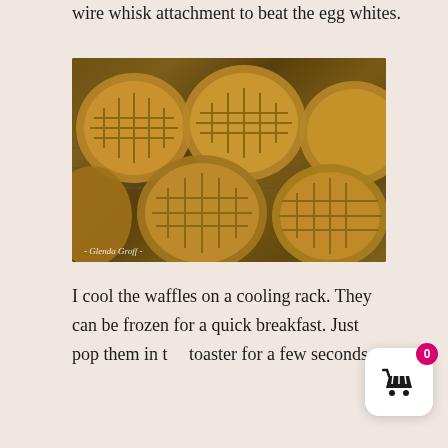wire whisk attachment to beat the egg whites.
[Figure (photo): Multiple round golden-brown waffles cooling on a wire rack, photographed from above. Watermark reads '- Glenda Groff -']
I cool the waffles on a cooling rack. They can be frozen for a quick breakfast. Just pop them in the toaster for a few seconds.